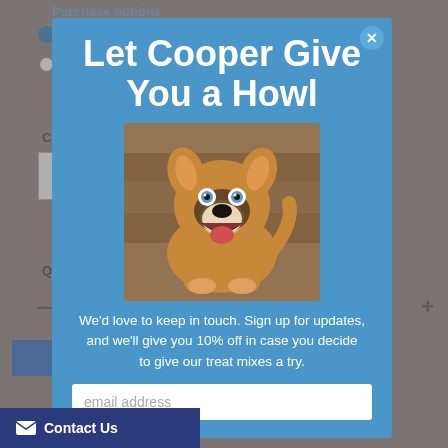Purchase options
One-time purchase
Subscribe and Save
Count
1 CHEW
3 CHEWS
Qty
Let Cooper Give You a Howl
[Figure (photo): A happy brown and white dog with blue eyes sitting on a wooden floor, looking up with mouth open and tongue showing]
We'd love to keep in touch. Sign up for updates, and we'll give you 10% off in case you decide to give our treat mixes a try.
email address
Contact Us